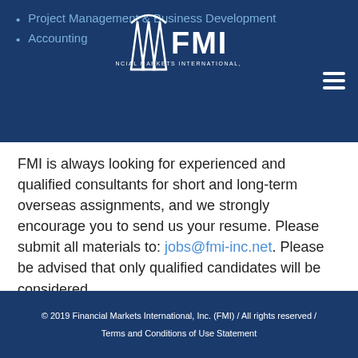Project Management & Business Development
Accounting
[Figure (logo): FMI Financial Markets International, Inc. logo with stylized building/columns icon]
FMI is always looking for experienced and qualified consultants for short and long-term overseas assignments, and we strongly encourage you to send us your resume. Please submit all materials to: jobs@fmi-inc.net. Please be advised that only qualified candidates will be considered.
Thank you for your interest in FMI. FMI is an Equal Opportunity Employer.
© 2019 Financial Markets International, Inc. (FMI) / All rights reserved / Terms and Conditions of Use Statement